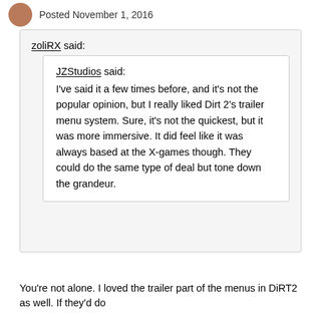Posted November 1, 2016
zoliRX said:
JZStudios said:
I've said it a few times before, and it's not the popular opinion, but I really liked Dirt 2's trailer menu system. Sure, it's not the quickest, but it was more immersive. It did feel like it was always based at the X-games though. They could do the same type of deal but tone down the grandeur.
You're not alone. I loved the trailer part of the menus in DiRT2 as well. If they'd do